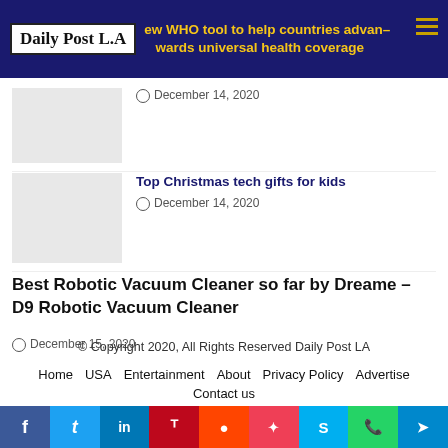Daily Post L.A
New WHO tool to help countries advance towards universal health coverage
December 14, 2020
Top Christmas tech gifts for kids
December 14, 2020
Best Robotic Vacuum Cleaner so far by Dreame – D9 Robotic Vacuum Cleaner
December 15, 2020
© Copyright 2020, All Rights Reserved Daily Post LA
Home
USA
Entertainment
About
Privacy Policy
Advertise
Contact us